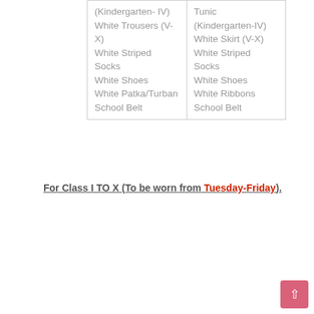| Boys: | Girls: |
| --- | --- |
| (Kindergarten- IV)
White Trousers (V-X)
White Striped Socks
White Shoes
White Patka/Turban
School Belt | Tunic (Kindergarten-IV)
White Skirt (V-X)
White Striped Socks
White Shoes
White Ribbons
School Belt |
For Class I TO X (To be worn from Tuesday-Friday).
| Boys: | Girls: |
| --- | --- |
| Light Blue Shirt
Navy Blue Shorts (Kindergarten-IV)
Navy Blue Trousers (V- X)
Navy Blue | Light Blue Shirt
Navy Blue Knee Length Tunic (Kindergarten-IV)
Skirt (V- X)
Light Blue Ribbons
White Striped Socks |